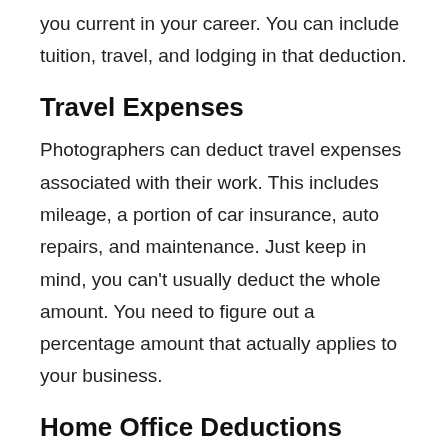you current in your career. You can include tuition, travel, and lodging in that deduction.
Travel Expenses
Photographers can deduct travel expenses associated with their work. This includes mileage, a portion of car insurance, auto repairs, and maintenance. Just keep in mind, you can't usually deduct the whole amount. You need to figure out a percentage amount that actually applies to your business.
Home Office Deductions
If you do your work at home and keep